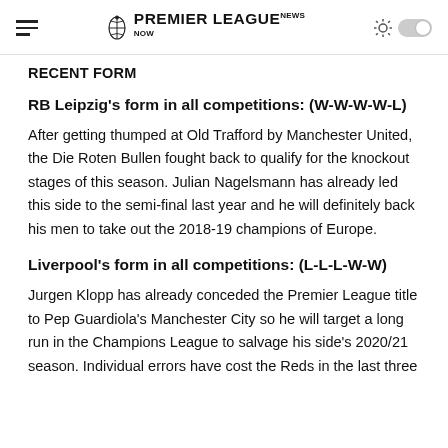PREMIER LEAGUE NEWS NOW
RECENT FORM
RB Leipzig's form in all competitions: (W-W-W-W-L)
After getting thumped at Old Trafford by Manchester United, the Die Roten Bullen fought back to qualify for the knockout stages of this season. Julian Nagelsmann has already led this side to the semi-final last year and he will definitely back his men to take out the 2018-19 champions of Europe.
Liverpool's form in all competitions: (L-L-L-W-W)
Jurgen Klopp has already conceded the Premier League title to Pep Guardiola's Manchester City so he will target a long run in the Champions League to salvage his side's 2020/21 season. Individual errors have cost the Reds in the last three